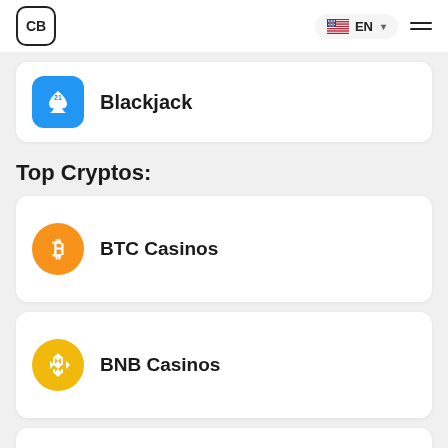CB | EN
Blackjack
Top Cryptos:
BTC Casinos
BNB Casinos
BCH Casinos